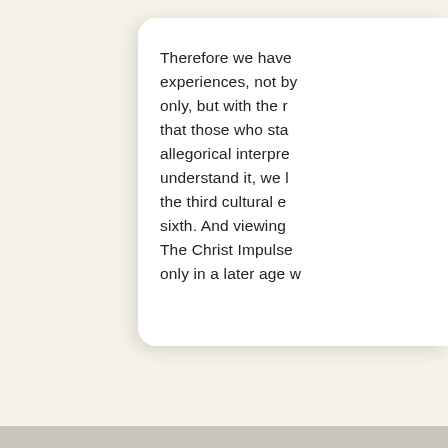Therefore we have experiences, not by only, but with the r that those who sta allegorical interpre understand it, we l the third cultural e sixth. And viewing The Christ Impulse only in a later age w